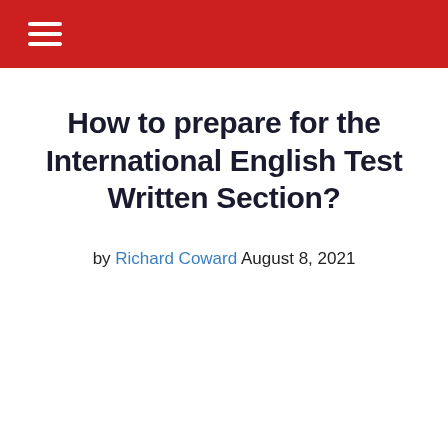≡
How to prepare for the International English Test Written Section?
by Richard Coward August 8, 2021